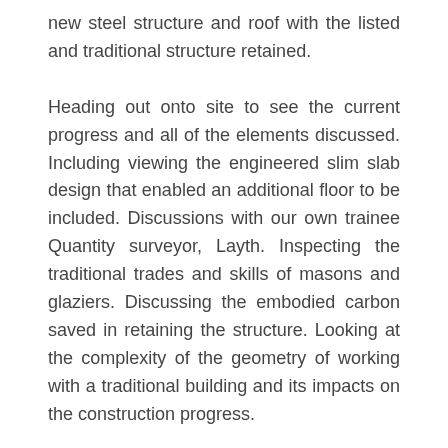new steel structure and roof with the listed and traditional structure retained.
Heading out onto site to see the current progress and all of the elements discussed. Including viewing the engineered slim slab design that enabled an additional floor to be included. Discussions with our own trainee Quantity surveyor, Layth. Inspecting the traditional trades and skills of masons and glaziers. Discussing the embodied carbon saved in retaining the structure. Looking at the complexity of the geometry of working with a traditional building and its impacts on the construction progress.
The site team said it was great to be able to be able to actually do these events again after the